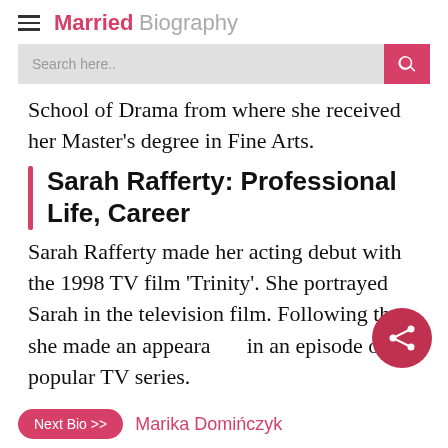Married Biography
School of Drama from where she received her Master's degree in Fine Arts.
Sarah Rafferty: Professional Life, Career
Sarah Rafferty made her acting debut with the 1998 TV film 'Trinity'. She portrayed Sarah in the television film. Following that, she made an appearance in an episode of the popular TV series.
Next Bio >> Marika Domińczyk